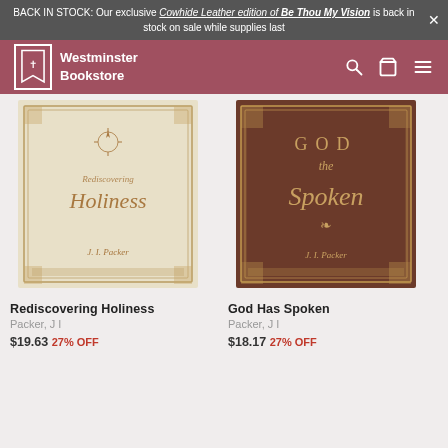BACK IN STOCK: Our exclusive Cowhide Leather edition of Be Thou My Vision is back in stock on sale while supplies last
Westminster Bookstore
[Figure (photo): Book cover of Rediscovering Holiness by J.I. Packer — cream/beige ornate border design with compass rose motif]
Rediscovering Holiness
Packer, J I
$19.63 27% OFF
[Figure (photo): Book cover of God Has Spoken by J.I. Packer — dark brown ornate border design]
God Has Spoken
Packer, J I
$18.17 27% OFF